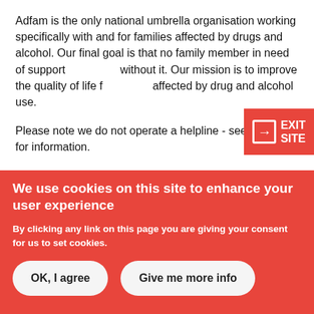Adfam is the only national umbrella organisation working specifically with and for families affected by drugs and alcohol. Our final goal is that no family member in need of support should go without it. Our mission is to improve the quality of life for people affected by drug and alcohol use.
Please note we do not operate a helpline - see website for information.
Website | 020 3817 9410
admin@adfam.org.uk | Read more
EXIT SITE
We use cookies on this site to enhance your user experience
By clicking any link on this page you are giving your consent for us to set cookies.
OK, I agree
Give me more info